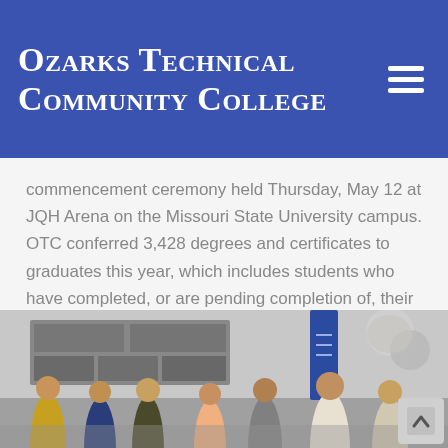Ozarks Technical Community College
commencement ceremony held Thursday, May 12 at JQH Arena on the Missouri State University campus. OTC conferred 3,428 degrees and certificates to graduates this year, which includes students who have completed, or are pending completion of, their course work from the summer 2015 semester through the…
[Figure (photo): Students and visitors mingling at what appears to be a career fair or college event inside a large room with bulletin boards and display banners in the background.]